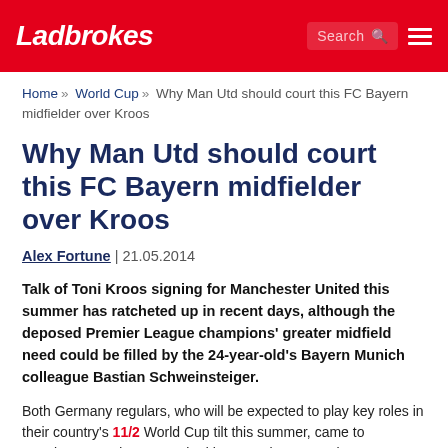Ladbrokes
Home » World Cup » Why Man Utd should court this FC Bayern midfielder over Kroos
Why Man Utd should court this FC Bayern midfielder over Kroos
Alex Fortune | 21.05.2014
Talk of Toni Kroos signing for Manchester United this summer has ratcheted up in recent days, although the deposed Premier League champions' greater midfield need could be filled by the 24-year-old's Bayern Munich colleague Bastian Schweinsteiger.
Both Germany regulars, who will be expected to play key roles in their country's 11/2 World Cup tilt this summer, came to prominence under new United boss Louis van Gaal at Bayern and have excelled since under Jupp Heynckes and Pep Guardiola.
While both started their careers as advanced attacking-midfielders and have moved back into more central positions since, the man they eventually replaced in the line-up will come out on top in the...